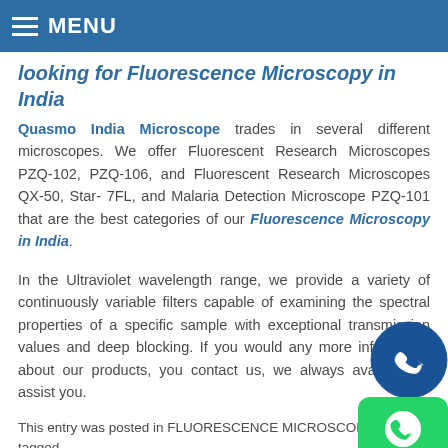MENU
looking for Fluorescence Microscopy in India
Quasmo India Microscope trades in several different microscopes. We offer Fluorescent Research Microscopes PZQ-102, PZQ-106, and Fluorescent Research Microscopes QX-50, Star- 7FL, and Malaria Detection Microscope PZQ-101 that are the best categories of our Fluorescence Microscopy in India.
In the Ultraviolet wavelength range, we provide a variety of continuously variable filters capable of examining the spectral properties of a specific sample with exceptional transmission values and deep blocking. If you would any more information about our products, you contact us, we always available to assist you.
This entry was posted in FLUORESCENCE MICROSCOPE and tagged